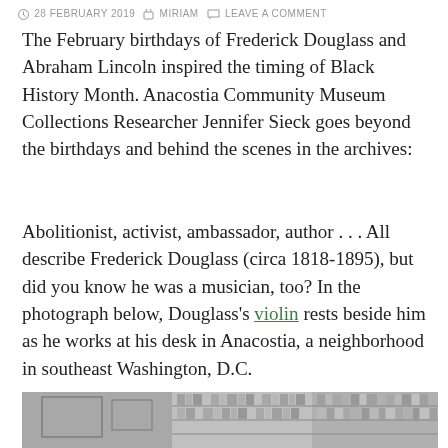28 FEBRUARY 2019  MIRIAM  LEAVE A COMMENT
The February birthdays of Frederick Douglass and Abraham Lincoln inspired the timing of Black History Month. Anacostia Community Museum Collections Researcher Jennifer Sieck goes beyond the birthdays and behind the scenes in the archives:
Abolitionist, activist, ambassador, author . . . All describe Frederick Douglass (circa 1818-1895), but did you know he was a musician, too? In the photograph below, Douglass’s violin rests beside him as he works at his desk in Anacostia, a neighborhood in southeast Washington, D.C.
[Figure (photo): Black and white photograph showing bookshelves filled with books and framed items on the wall, believed to be Frederick Douglass's study in Anacostia.]